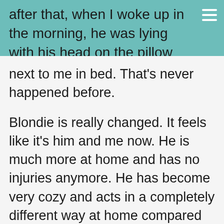after that, when I woke up in the morning, he was lying with his head on the pillow
next to me in bed. That's never happened before.
Blondie is really changed. It feels like it's him and me now. He is much more at home and has no injuries anymore. He has become very cozy and acts in a completely different way at home compared to before. It feels like he "owns" the house now. He feels relaxed and comes and wants to cuddle a lot. In the past, he felt so restless and only had